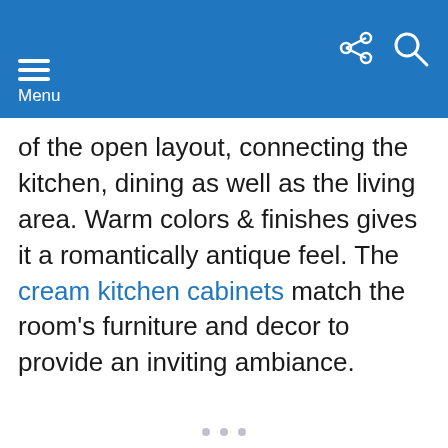Menu
of the open layout, connecting the kitchen, dining as well as the living area. Warm colors & finishes gives it a romantically antique feel. The cream kitchen cabinets match the room's furniture and decor to provide an inviting ambiance.
[Figure (photo): Image placeholder area with light grey background, partially visible at bottom of page]